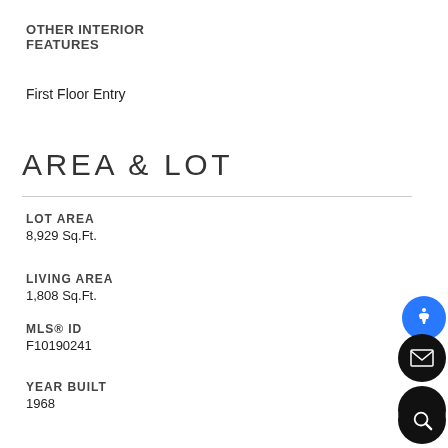OTHER INTERIOR FEATURES
First Floor Entry
AREA & LOT
LOT AREA
8,929 Sq.Ft.
LIVING AREA
1,808 Sq.Ft.
MLS® ID
F10190241
YEAR BUILT
1968